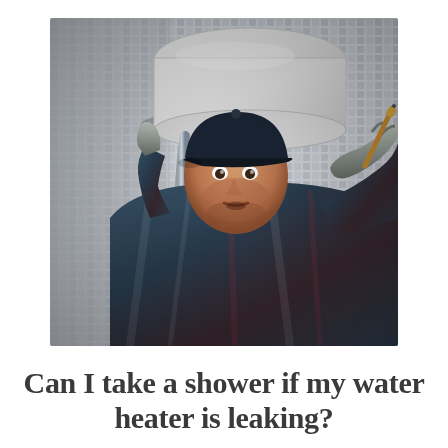[Figure (photo): A male plumber or technician wearing a dark cap and plaid shirt with white work gloves, looking up and working on the pipes beneath a white wall-mounted water heater. The background shows a tiled wall.]
Can I take a shower if my water heater is leaking?